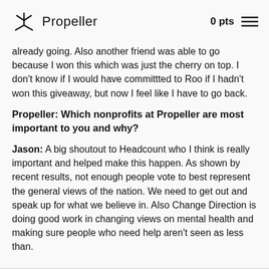Propeller  0pts
already going. Also another friend was able to go because I won this which was just the cherry on top. I don't know if I would have committted to Roo if I hadn't won this giveaway, but now I feel like I have to go back.
Propeller: Which nonprofits at Propeller are most important to you and why?
Jason: A big shoutout to Headcount who I think is really important and helped make this happen. As shown by recent results, not enough people vote to best represent the general views of the nation. We need to get out and speak up for what we believe in. Also Change Direction is doing good work in changing views on mental health and making sure people who need help aren't seen as less than.